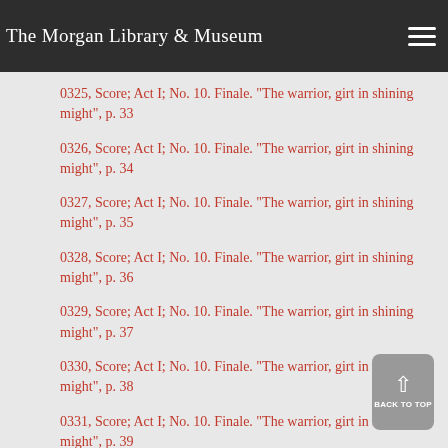The Morgan Library & Museum
0325, Score; Act I; No. 10. Finale. "The warrior, girt in shining might", p. 33
0326, Score; Act I; No. 10. Finale. "The warrior, girt in shining might", p. 34
0327, Score; Act I; No. 10. Finale. "The warrior, girt in shining might", p. 35
0328, Score; Act I; No. 10. Finale. "The warrior, girt in shining might", p. 36
0329, Score; Act I; No. 10. Finale. "The warrior, girt in shining might", p. 37
0330, Score; Act I; No. 10. Finale. "The warrior, girt in shining might", p. 38
0331, Score; Act I; No. 10. Finale. "The warrior, girt in shining might", p. 39